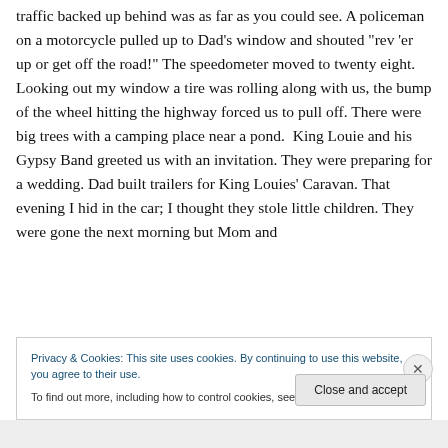traffic backed up behind was as far as you could see. A policeman on a motorcycle pulled up to Dad’s window and shouted “rev ’er up or get off the road!” The speedometer moved to twenty eight. Looking out my window a tire was rolling along with us, the bump of the wheel hitting the highway forced us to pull off. There were big trees with a camping place near a pond.  King Louie and his Gypsy Band greeted us with an invitation. They were preparing for a wedding. Dad built trailers for King Louies’ Caravan. That evening I hid in the car; I thought they stole little children. They were gone the next morning but Mom and
Privacy & Cookies: This site uses cookies. By continuing to use this website, you agree to their use.
To find out more, including how to control cookies, see here: Cookie Policy
Close and accept